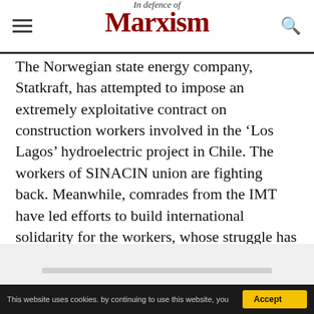In Defence of Marxism
The Norwegian state energy company, Statkraft, has attempted to impose an extremely exploitative contract on construction workers involved in the ‘Los Lagos’ hydroelectric project in Chile. The workers of SINACIN union are fighting back. Meanwhile, comrades from the IMT have led efforts to build international solidarity for the workers, whose struggle has found a sympathetic echo in the Norwegian labour movement. We provide a report here by comrades of the IMT in Chile and Norway.
This website uses cookies. by continuing to use this website, you